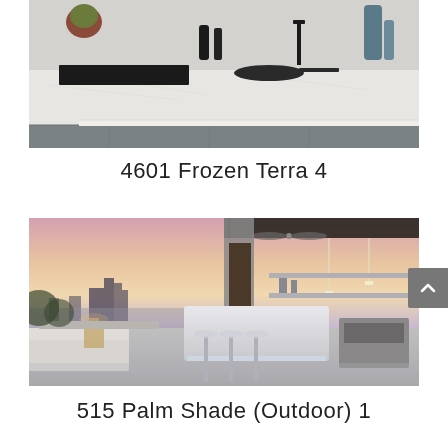[Figure (photo): Modern kitchen interior with white marble countertop, black induction cooktop, pan, and kitchen accessories on counter with gray cabinets]
4601 Frozen Terra 4
[Figure (photo): Rooftop outdoor lounge and bar area at sunset with city skyline in background, white illuminated bar counter with stools, outdoor seating, ceiling fan, and pendant lights]
515 Palm Shade (Outdoor) 1